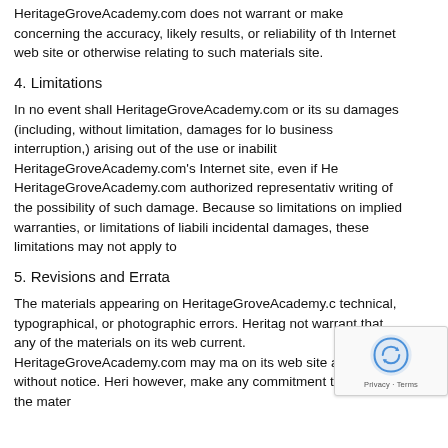HeritageGroveAcademy.com does not warrant or make concerning the accuracy, likely results, or reliability of the Internet web site or otherwise relating to such materials or site.
4. Limitations
In no event shall HeritageGroveAcademy.com or its sup damages (including, without limitation, damages for los business interruption,) arising out of the use or inability HeritageGroveAcademy.com's Internet site, even if Her HeritageGroveAcademy.com authorized representative writing of the possibility of such damage. Because som limitations on implied warranties, or limitations of liabilit incidental damages, these limitations may not apply to
5. Revisions and Errata
The materials appearing on HeritageGroveAcademy.co technical, typographical, or photographic errors. Herita not warrant that any of the materials on its web current. HeritageGroveAcademy.com may ma on its web site at any time without notice. Heri however, make any commitment to update the mater